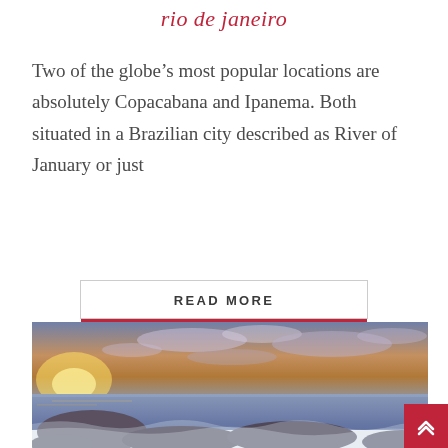rio de janeiro
Two of the globe’s most popular locations are absolutely Copacabana and Ipanema. Both situated in a Brazilian city described as River of January or just
READ MORE
[Figure (photo): Seascape photo showing a rocky coastal scene at sunset with dramatic sky featuring orange and purple tones, waves washing over rocks in the foreground.]